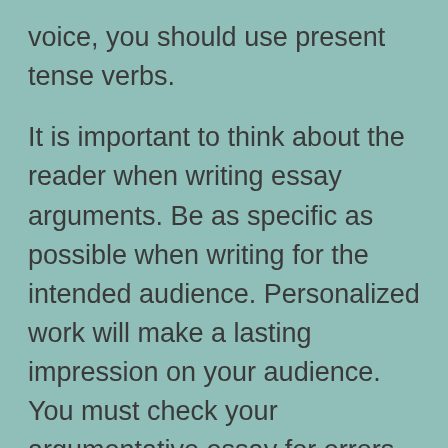voice, you should use present tense verbs.
It is important to think about the reader when writing essay arguments. Be as specific as possible when writing for the intended audience. Personalized work will make a lasting impression on your audience. You must check your argumentative essay for errors after your essay has been written. Do not repeat your arguments or even yourself! If your argumentative essay doesn't seem sufficient in its clarity, it's draft, it's not an actual piece of work.